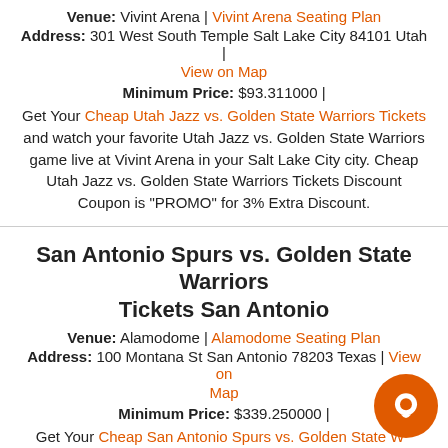Venue: Vivint Arena | Vivint Arena Seating Plan
Address: 301 West South Temple Salt Lake City 84101 Utah | View on Map
Minimum Price: $93.311000 |
Get Your Cheap Utah Jazz vs. Golden State Warriors Tickets and watch your favorite Utah Jazz vs. Golden State Warriors game live at Vivint Arena in your Salt Lake City city. Cheap Utah Jazz vs. Golden State Warriors Tickets Discount Coupon is "PROMO" for 3% Extra Discount.
San Antonio Spurs vs. Golden State Warriors Tickets San Antonio
Venue: Alamodome | Alamodome Seating Plan
Address: 100 Montana St San Antonio 78203 Texas | View on Map
Minimum Price: $339.250000 |
Get Your Cheap San Antonio Spurs vs. Golden State Warriors Tickets and watch your favorite San Antonio Spurs vs. Golden State Warriors game live at Alamodome in your San Antonio city. Cheap San Antonio Spurs vs. Golden State Warriors Tickets